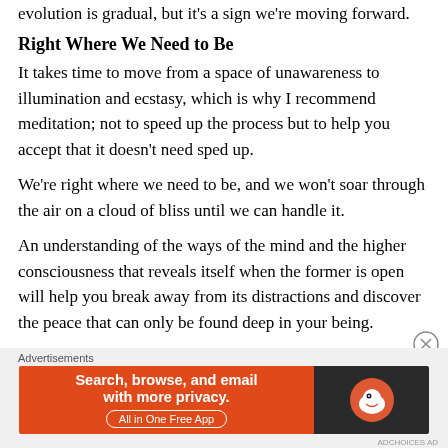evolution is gradual, but it's a sign we're moving forward.
Right Where We Need to Be
It takes time to move from a space of unawareness to illumination and ecstasy, which is why I recommend meditation; not to speed up the process but to help you accept that it doesn't need sped up.
We're right where we need to be, and we won't soar through the air on a cloud of bliss until we can handle it.
An understanding of the ways of the mind and the higher consciousness that reveals itself when the former is open will help you break away from its distractions and discover the peace that can only be found deep in your being.
Advertisements
[Figure (screenshot): DuckDuckGo advertisement banner: orange left panel with text 'Search, browse, and email with more privacy. All in One Free App' and dark right panel with DuckDuckGo logo]